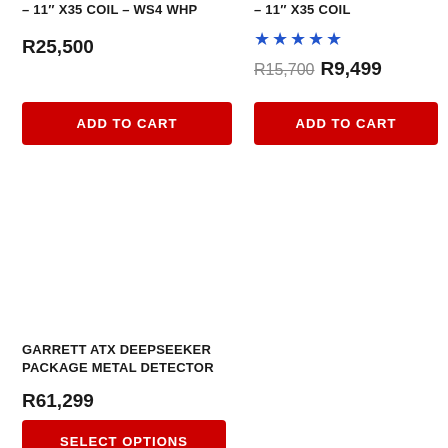– 11" X35 COIL – WS4 WHP
R25,500
ADD TO CART
– 11" X35 COIL
★★★★★
R15,700 R9,499
ADD TO CART
[Figure (photo): Product image area – empty white space for Garrett ATX Deepseeker Package Metal Detector]
GARRETT ATX DEEPSEEKER PACKAGE METAL DETECTOR
R61,299
SELECT OPTIONS